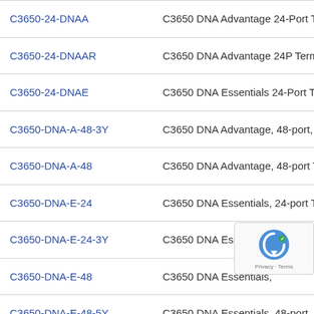| Product ID | Description |
| --- | --- |
| C3650-24-DNAA | C3650 DNA Advantage 24-Port Te… |
| C3650-24-DNAAR | C3650 DNA Advantage 24P Term… |
| C3650-24-DNAE | C3650 DNA Essentials 24-Port Te… |
| C3650-DNA-A-48-3Y | C3650 DNA Advantage, 48-port,… |
| C3650-DNA-A-48 | C3650 DNA Advantage, 48-port T… |
| C3650-DNA-E-24 | C3650 DNA Essentials, 24-port Te… |
| C3650-DNA-E-24-3Y | C3650 DNA Essentials, 24-port, 3… |
| C3650-DNA-E-48 | C3650 DNA Essentials,… |
| C3650-DNA-E-48-5Y | C3650 DNA Essentials, 48-port, 5… |